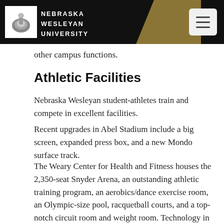Nebraska Wesleyan University
other campus functions.
Athletic Facilities
Nebraska Wesleyan student-athletes train and compete in excellent facilities.
Recent upgrades in Abel Stadium include a big screen, expanded press box, and a new Mondo surface track.
The Weary Center for Health and Fitness houses the 2,350-seat Snyder Arena, an outstanding athletic training program, an aerobics/dance exercise room, an Olympic-size pool, racquetball courts, and a top-notch circuit room and weight room. Technology in the weight room like camera-equipped squat boxes helps you get the most out of your workouts. The Weary Center also offers a voluntary bike checkout program.